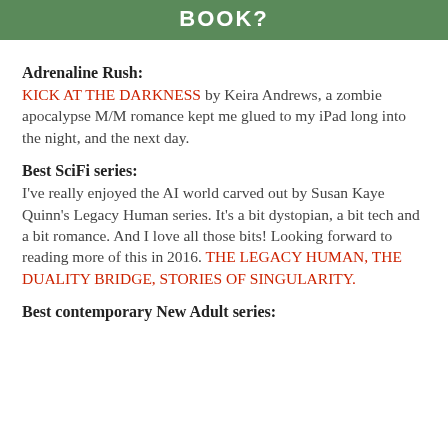BOOK?
Adrenaline Rush:
KICK AT THE DARKNESS by Keira Andrews, a zombie apocalypse M/M romance kept me glued to my iPad long into the night, and the next day.
Best SciFi series:
I've really enjoyed the AI world carved out by Susan Kaye Quinn's Legacy Human series. It's a bit dystopian, a bit tech and a bit romance. And I love all those bits! Looking forward to reading more of this in 2016. THE LEGACY HUMAN, THE DUALITY BRIDGE, STORIES OF SINGULARITY.
Best contemporary New Adult series: